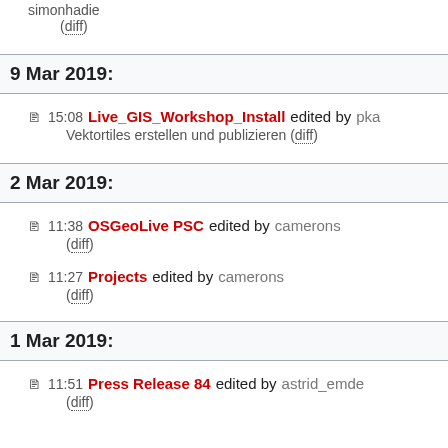simonhadie
(diff)
9 Mar 2019:
15:08 Live_GIS_Workshop_Install edited by pka
Vektortiles erstellen und publizieren (diff)
2 Mar 2019:
11:38 OSGeoLive PSC edited by camerons
(diff)
11:27 Projects edited by camerons
(diff)
1 Mar 2019:
11:51 Press Release 84 edited by astrid_emde
(diff)